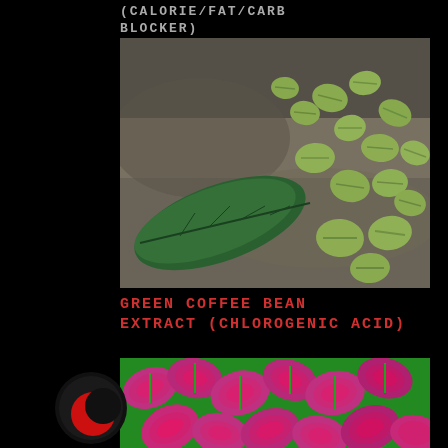(CALORIE/FAT/CARB BLOCKER)
[Figure (photo): Green coffee beans scattered on a stone surface with a green leaf]
GREEN COFFEE BEAN EXTRACT (CHLOROGENIC ACID)
[Figure (photo): Colorful coleus plants with pink, green, and purple leaves]
[Figure (logo): Black circle with red crescent moon shape — brand logo]